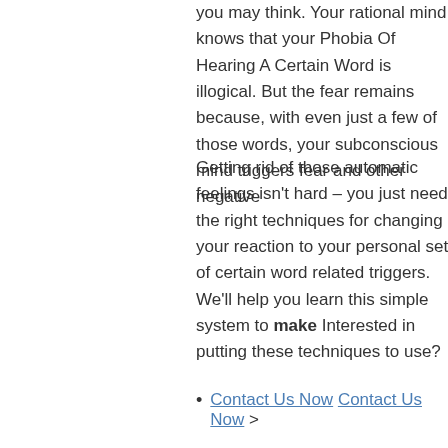you may think. Your rational mind knows that your Phobia Of Hearing A Certain Word is illogical. But the fear remains because, with even just a few of those words, your subconscious mind triggers fear and other negative
Getting rid of those automatic feelings isn't hard – you just need the right techniques for changing your reaction to your personal set of certain word related triggers. We'll help you learn this simple system to make Interested in putting these techniques to use?
Contact Us Now Contact Us Now >
When You're Searching for Treatments and Cures to Vanquish Your Phobia of Hearing a Certain Word
Unlike other solutions, we don't promise you a cure for your fear. The key to this program is knowing that you are the one who will be making the changes. We're here purely to teach, and to hold your hand as you walk through